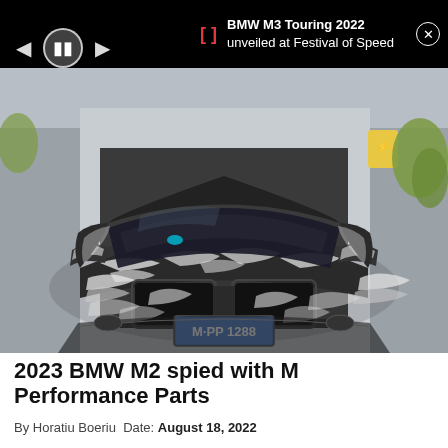BMW M3 Touring 2022 unveiled at Festival of Speed
[Figure (photo): Front view of a 2023 BMW M2 prototype covered in black and white camouflage wrap, with license plate M PP 1288, photographed in front of a building.]
2023 BMW M2 spied with M Performance Parts
By Horatiu Boeriu  Date: August 18, 2022